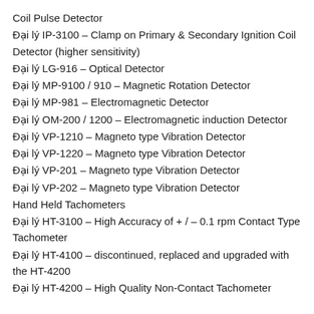Coil Pulse Detector
Đại lý IP-3100 – Clamp on Primary & Secondary Ignition Coil Detector (higher sensitivity)
Đại lý LG-916 – Optical Detector
Đại lý MP-9100 / 910 – Magnetic Rotation Detector
Đại lý MP-981 – Electromagnetic Detector
Đại lý OM-200 / 1200 – Electromagnetic induction Detector
Đại lý VP-1210 – Magneto type Vibration Detector
Đại lý VP-1220 – Magneto type Vibration Detector
Đại lý VP-201 – Magneto type Vibration Detector
Đại lý VP-202 – Magneto type Vibration Detector
Hand Held Tachometers
Đại lý HT-3100 – High Accuracy of + / – 0.1 rpm Contact Type Tachometer
Đại lý HT-4100 – discontinued, replaced and upgraded with the HT-4200
Đại lý HT-4200 – High Quality Non-Contact Tachometer